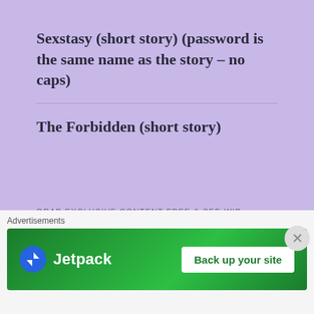Sexstasy (short story) (password is the same name as the story – no caps)
The Forbidden (short story)
GRAB EXCLUSIVE CONTENT FREE & SEE WIP
DOWNLOAD FREE PREVIEW OF UPCOMING BOOK
Advertisements
[Figure (other): Jetpack advertisement banner with green background showing Jetpack logo and 'Back up your site' button]